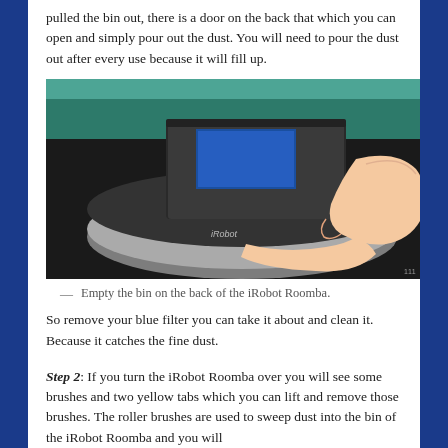pulled the bin out, there is a door on the back that which you can open and simply pour out the dust. You will need to pour the dust out after every use because it will fill up.
[Figure (photo): A person's hands removing the dust bin from an iRobot Roomba robot vacuum cleaner. The bin has a blue filter visible inside, and the Roomba is sitting on a dark surface with a teal/green background.]
— Empty the bin on the back of the iRobot Roomba.
So remove your blue filter you can take it about and clean it. Because it catches the fine dust.
Step 2: If you turn the iRobot Roomba over you will see some brushes and two yellow tabs which you can lift and remove those brushes. The roller brushes are used to sweep dust into the bin of the iRobot Roomba and you will